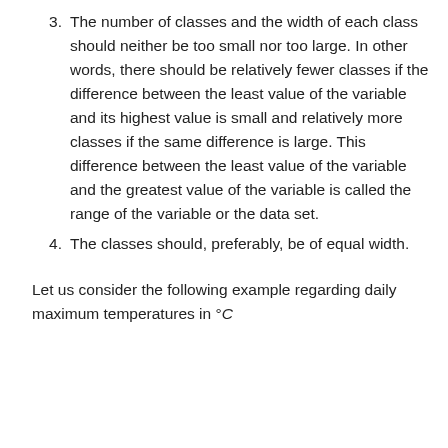3. The number of classes and the width of each class should neither be too small nor too large. In other words, there should be relatively fewer classes if the difference between the least value of the variable and its highest value is small and relatively more classes if the same difference is large. This difference between the least value of the variable and the greatest value of the variable is called the range of the variable or the data set.
4. The classes should, preferably, be of equal width.
Let us consider the following example regarding daily maximum temperatures in °C